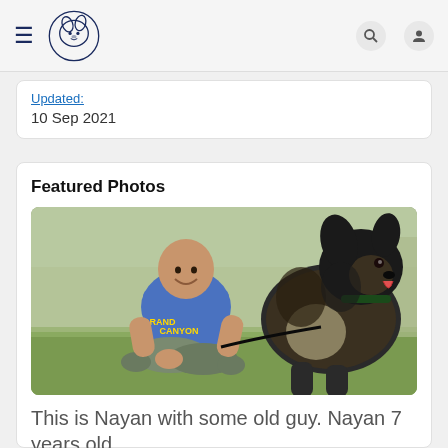Navigation bar with hamburger menu, logo, search and user icons
Updated:
10 Sep 2021
Featured Photos
[Figure (photo): A smiling man sitting cross-legged on grass wearing a blue Grand Canyon t-shirt and grey pants, with a large fluffy dark-colored dog (on a leash) sitting beside him.]
This is Nayan with some old guy. Nayan 7 years old.